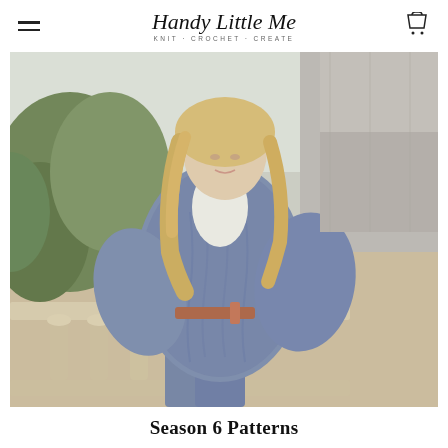Handy Little Me · KNIT · CROCHET · CREATE
[Figure (photo): A woman wearing a chunky knit grey-blue cardigan with cable texture, standing outdoors beside a stone balustrade. She has long blonde hair and wears a white turtleneck underneath and jeans. Green foliage and stone architecture in background.]
Season 6 Patterns